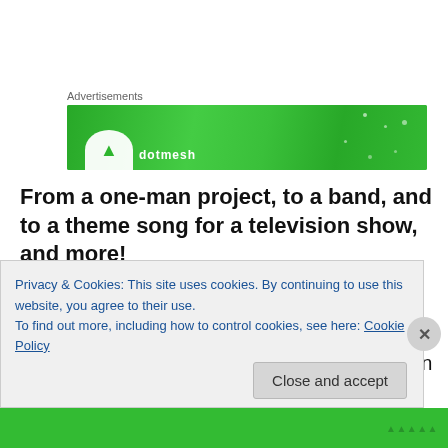[Figure (other): Green advertisement banner with white dots/sparkles pattern and partial logo/text visible]
From a one-man project, to a band, and to a theme song for a television show, and more!
According to Rench, Gangstagrass gradually evolved from a one-man project inside his own recording studios in 2006, Rench Audio studios, to a group composed of long-
Privacy & Cookies: This site uses cookies. By continuing to use this website, you agree to their use.
To find out more, including how to control cookies, see here: Cookie Policy